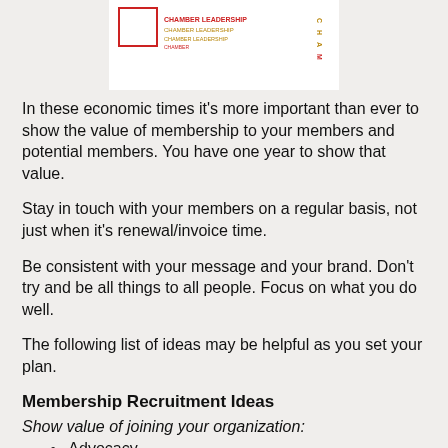[Figure (logo): Chamber leadership logo with red and gold text on white background]
In these economic times it's more important than ever to show the value of membership to your members and potential members. You have one year to show that value.
Stay in touch with your members on a regular basis, not just when it's renewal/invoice time.
Be consistent with your message and your brand. Don't try and be all things to all people. Focus on what you do well.
The following list of ideas may be helpful as you set your plan.
Membership Recruitment Ideas
Show value of joining your organization:
Advocacy
Credibility